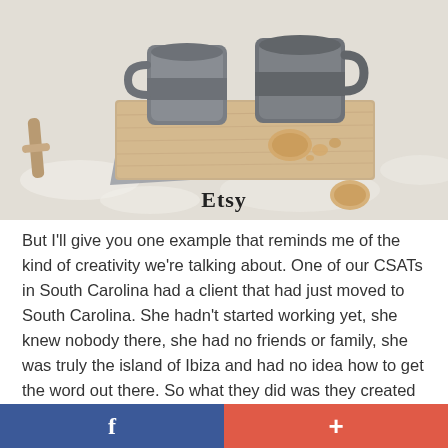[Figure (photo): Two grey ceramic mugs on a wooden cutting board with cookies/pastries, dusted surface background, watermark 'Etsy' at bottom]
But I'll give you one example that reminds me of the kind of creativity we're talking about. One of our CSATs in South Carolina had a client that had just moved to South Carolina. She hadn't started working yet, she knew nobody there, she had no friends or family, she was truly the island of Ibiza and had no idea how to get the word out there. So what they did was they created a compelling flyer. Obviously all you need to do is put that beautiful picture of the dog with the puppy eyes, that's a start. And she made this beautiful flyer explaining I
f  +